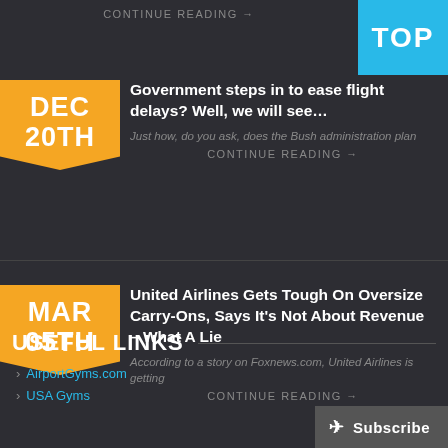CONTINUE READING →
[Figure (other): TOP banner in cyan/blue color in top right corner]
DEC 20TH
Government steps in to ease flight delays? Well, we will see…
Just how, do you ask, does the Bush administration plan
CONTINUE READING →
MAR 05TH
United Airlines Gets Tough On Oversize Carry-Ons, Says It's Not About Revenue – What A Lie
According to a story on Foxnews.com, United Airlines is getting
CONTINUE READING →
USEFUL LINKS
AirportGyms.com
USA Gyms
Subscribe